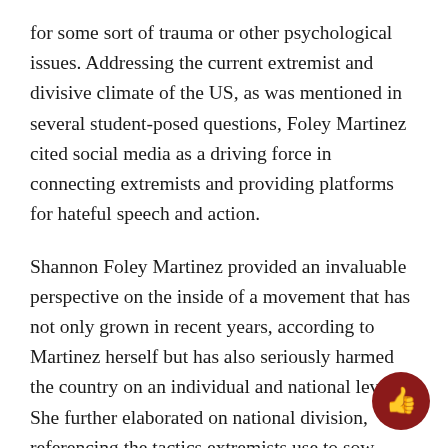for some sort of trauma or other psychological issues. Addressing the current extremist and divisive climate of the US, as was mentioned in several student-posed questions, Foley Martinez cited social media as a driving force in connecting extremists and providing platforms for hateful speech and action.
Shannon Foley Martinez provided an invaluable perspective on the inside of a movement that has not only grown in recent years, according to Martinez herself but has also seriously harmed the country on an individual and national level. She further elaborated on national division, referencing the tactics extremists use to sow division and how easily extremist ideals can be integrated into society. However, despite extensive discussion on violence, extremism, and the generally unstable domestic state of the US, Foley Martinez did not seem pessimistic. She emphasized that to succeed, we need to “weaponize hop